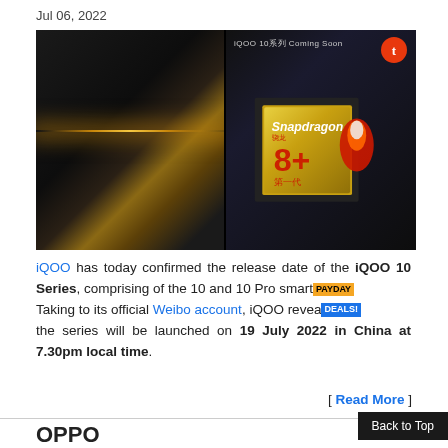Jul 06, 2022
[Figure (photo): Two promotional images side by side: left shows iQOO 10 smartphone in dark lighting with gold lens gleam; right shows Snapdragon 8+ Gen 1 chip on dark circuit board background with 'iQOO 10 系列 Coming Soon' text and TechNaija logo]
iQOO has today confirmed the release date of the iQOO 10 Series, comprising of the 10 and 10 Pro smartphones. Taking to its official Weibo account, iQOO revealed the series will be launched on 19 July 2022 in China at 7.30pm local time.
[ Read More ]
Back to Top
OPPO